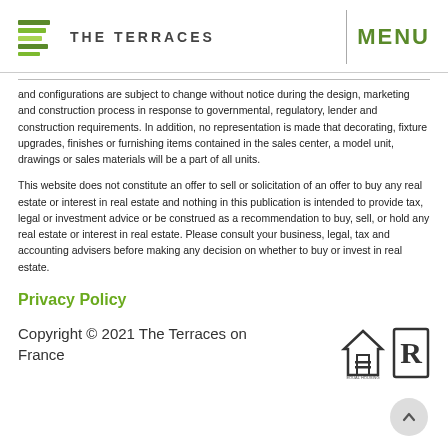THE TERRACES   MENU
and configurations are subject to change without notice during the design, marketing and construction process in response to governmental, regulatory, lender and construction requirements. In addition, no representation is made that decorating, fixture upgrades, finishes or furnishing items contained in the sales center, a model unit, drawings or sales materials will be a part of all units.
This website does not constitute an offer to sell or solicitation of an offer to buy any real estate or interest in real estate and nothing in this publication is intended to provide tax, legal or investment advice or be construed as a recommendation to buy, sell, or hold any real estate or interest in real estate. Please consult your business, legal, tax and accounting advisers before making any decision on whether to buy or invest in real estate.
Privacy Policy
Copyright © 2021 The Terraces on France